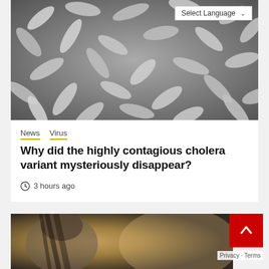[Figure (photo): Electron microscope image of cholera bacteria (rod-shaped bacteria, grayscale)]
News  Virus
Why did the highly contagious cholera variant mysteriously disappear?
3 hours ago
[Figure (photo): Partially visible blurred photo at the bottom of the page, appears to show a person]
Privacy · Terms